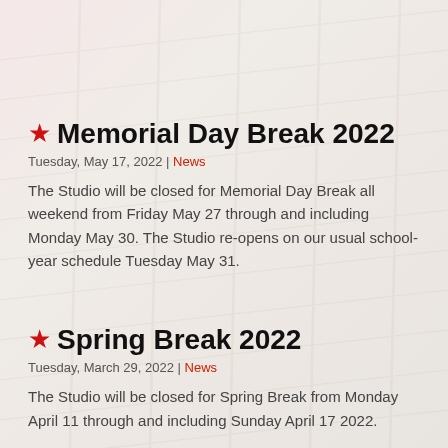Memorial Day Break 2022
Tuesday, May 17, 2022 | News
The Studio will be closed for Memorial Day Break all weekend from Friday May 27 through and including Monday May 30. The Studio re-opens on our usual school-year schedule Tuesday May 31.
Spring Break 2022
Tuesday, March 29, 2022 | News
The Studio will be closed for Spring Break from Monday April 11 through and including Sunday April 17 2022.